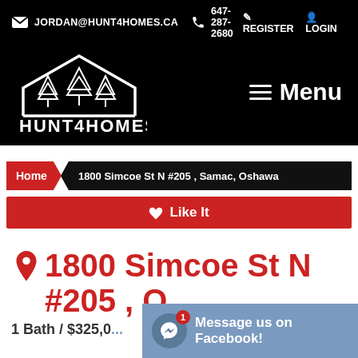JORDAN@HUNT4HOMES.CA  647-287-2680  REGISTER  LOGIN
[Figure (logo): Hunt4Homes logo: white house outline with tree motifs and text HUNT4HOMES on black background]
Menu
Home  1800 Simcoe St N #205 , Samac, Oshawa
♥ Like It
1800 Simcoe St N #205 , O...
1 Bath / $325,0...
Message us on Facebook!